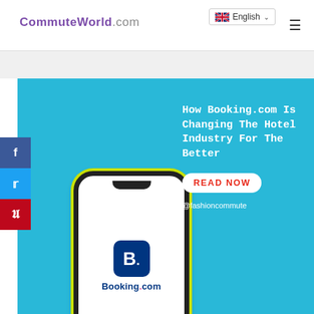CommuteWorld.com | English
[Figure (screenshot): Website screenshot showing CommuteWorld.com with a hero banner featuring a phone with Booking.com logo, article title 'How Booking.com Is Changing The Hotel Industry For The Better', a READ NOW button, and @fashioncommute handle. Social share buttons for Facebook, Twitter, and Pinterest on the left side.]
How Booking.com Is Changing The Hotel Industry For The Better
READ NOW
@fashioncommute